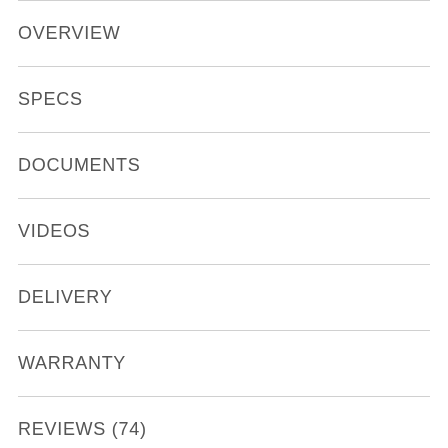OVERVIEW
SPECS
DOCUMENTS
VIDEOS
DELIVERY
WARRANTY
REVIEWS (74)
Energy-Saving Technology Saves You Money
Refrigerators run non-stop. So choose an ENERGY STAR® qualified model that will be cost-efficient to run and not waste resources.